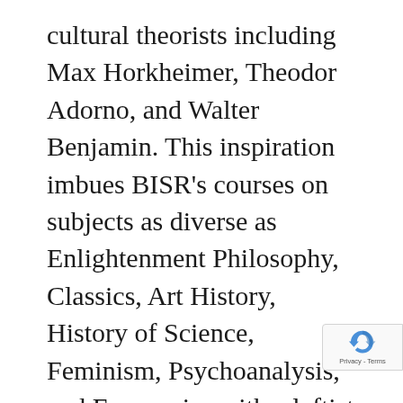cultural theorists including Max Horkheimer, Theodor Adorno, and Walter Benjamin. This inspiration imbues BISR's courses on subjects as diverse as Enlightenment Philosophy, Classics, Art History, History of Science, Feminism, Psychoanalysis, and Economics with a leftist ethos that presents education as something accessible and enjoyable for people of all ages, within and beyond the academy. Current and upcoming course titles include “Edward Said: Culture and Empire,” “Alternative Economies: Ma[rx and] Sociali[sm,]” “Critical [Global Health,” and]
[Figure (other): reCAPTCHA badge widget showing recycling-arrow logo with 'Privacy - Terms' text below]